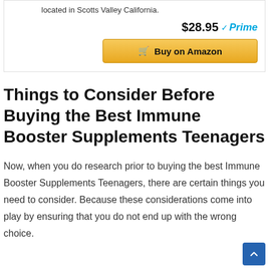located in Scotts Valley California.
$28.95 Prime
Buy on Amazon
Things to Consider Before Buying the Best Immune Booster Supplements Teenagers
Now, when you do research prior to buying the best Immune Booster Supplements Teenagers, there are certain things you need to consider. Because these considerations come into play by ensuring that you do not end up with the wrong choice.